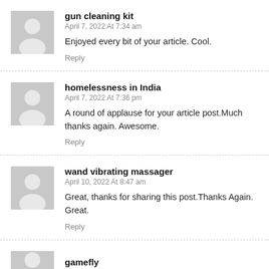gun cleaning kit
April 7, 2022 At 7:34 am
Enjoyed every bit of your article. Cool.
Reply
homelessness in India
April 7, 2022 At 7:36 pm
A round of applause for your article post.Much thanks again. Awesome.
Reply
wand vibrating massager
April 10, 2022 At 8:47 am
Great, thanks for sharing this post.Thanks Again. Great.
Reply
gamefly